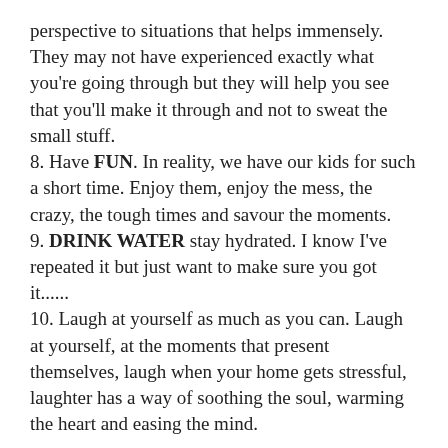perspective to situations that helps immensely. They may not have experienced exactly what you're going through but they will help you see that you'll make it through and not to sweat the small stuff.
8. Have FUN. In reality, we have our kids for such a short time. Enjoy them, enjoy the mess, the crazy, the tough times and savour the moments.
9. DRINK WATER stay hydrated. I know I've repeated it but just want to make sure you got it......
10. Laugh at yourself as much as you can. Laugh at yourself, at the moments that present themselves, laugh when your home gets stressful, laughter has a way of soothing the soul, warming the heart and easing the mind.
I hope these help and that you are encouraged and inspired to keep going. Parenting WELL is